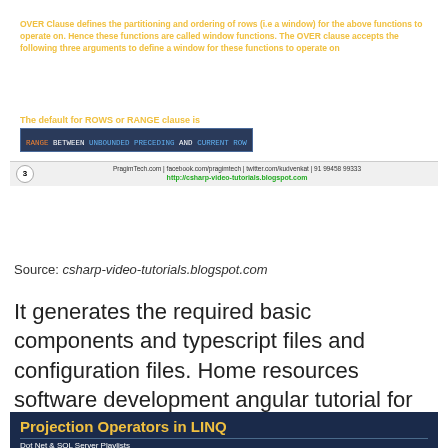[Figure (screenshot): Educational slide about SQL OVER clause, window functions, and ROWS/RANGE clause with dark blue background and yellow/white text. Shows bullet points about ORDER BY, PARTITION BY, ROWS or RANGE clause, and a code snippet: RANGE BETWEEN UNBOUNDED PRECEDING AND CURRENT ROW. Footer shows PragimTech.com details and http://csharp-video-tutorials.blogspot.com]
Source: csharp-video-tutorials.blogspot.com
It generates the required basic components and typescript files and configuration files. Home resources software development angular tutorial for beginners top 35 angular interview questions and answers for 2022.
[Figure (screenshot): Bottom of a slide titled 'Projection Operators in LINQ' with subtitle 'Dot Net & SQL Server Playlists' on dark blue background]